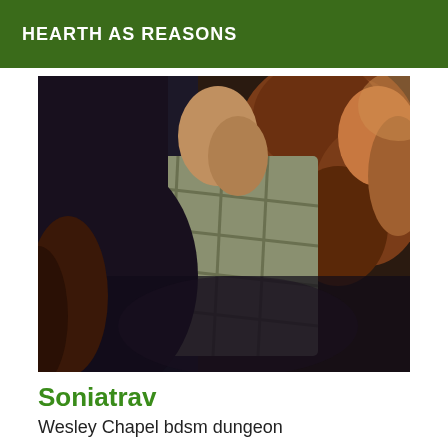HEARTH AS REASONS
[Figure (photo): A close-up photograph of a person with curly reddish-brown hair, wearing a plaid or checked scarf/jacket, in a dark indoor setting.]
Soniatrav
Wesley Chapel bdsm dungeon